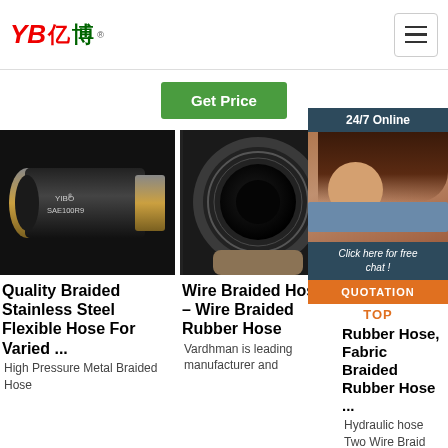[Figure (logo): YB亿博 brand logo in red with green Chinese character 博]
[Figure (screenshot): Green 'Get Price' button]
[Figure (photo): 24/7 Online chat widget with customer service agent photo, 'Click here for free chat!' text, QUOTATION button, and TOP label]
[Figure (photo): Black rubber hose with gold metal end fitting labeled YIBO SAE100R9]
Quality Braided Stainless Steel Flexible Hose For Varied ...
High Pressure Metal Braided Hose
[Figure (photo): Close-up of wire braided rubber hose end showing circular wire braid pattern]
Wire Braided Hose – Wire Braided Rubber Hose
Vardhman is leading manufacturer and
Fabric Braided Rubber Hose, Fabric Braided Rubber Hose ...
Hydraulic hose Two Wire Braid Hose